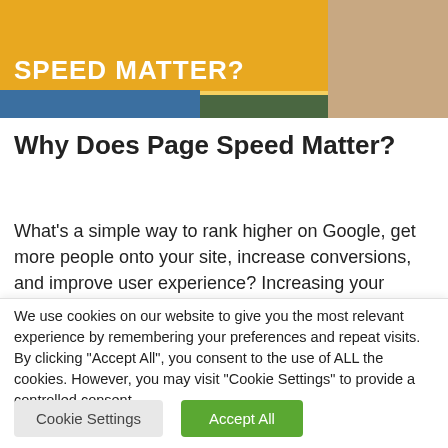[Figure (illustration): Banner image with yellow background showing partial text 'SPEED MATTER?' in white bold letters, a blue bar below, and a photo of hands/desk on the right side.]
Why Does Page Speed Matter?
What's a simple way to rank higher on Google, get more people onto your site, increase conversions, and improve user experience? Increasing your page speed. …
We use cookies on our website to give you the most relevant experience by remembering your preferences and repeat visits. By clicking "Accept All", you consent to the use of ALL the cookies. However, you may visit "Cookie Settings" to provide a controlled consent.
Cookie Settings | Accept All